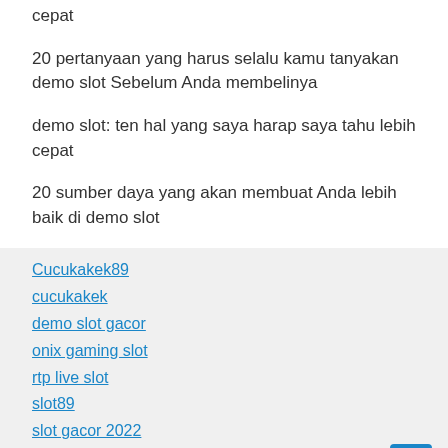cepat
20 pertanyaan yang harus selalu kamu tanyakan demo slot Sebelum Anda membelinya
demo slot: ten hal yang saya harap saya tahu lebih cepat
20 sumber daya yang akan membuat Anda lebih baik di demo slot
Cucukakek89
cucukakek
demo slot gacor
onix gaming slot
rtp live slot
slot89
slot gacor 2022
slot89
onix gaming slot
rtp live
Categories